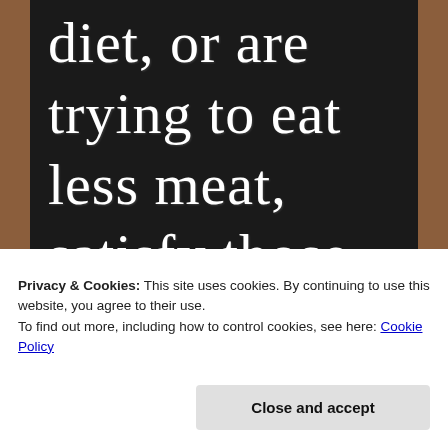[Figure (photo): Chalkboard with white handwritten chalk text on dark background, surrounded by brown wooden border. Text reads: 'diet, or are trying to eat less meat, satisfy those cravings with']
Privacy & Cookies: This site uses cookies. By continuing to use this website, you agree to their use.
To find out more, including how to control cookies, see here: Cookie Policy
Close and accept